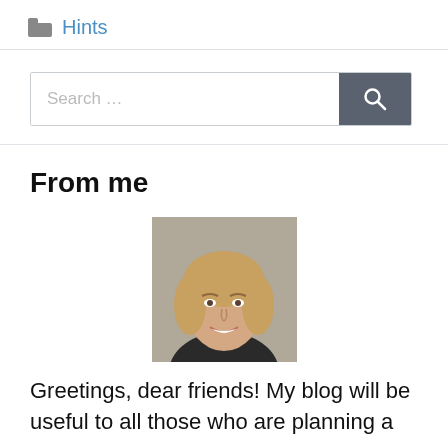Hints
[Figure (other): Search bar with text input field showing 'Search ...' placeholder and a dark gray search button with magnifying glass icon]
From me
[Figure (photo): Portrait photo of a smiling blonde woman]
Greetings, dear friends! My blog will be useful to all those who are planning a